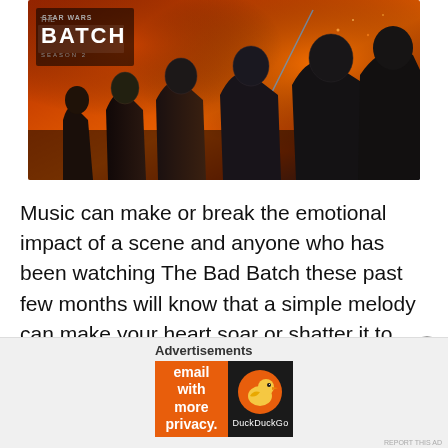[Figure (photo): Promotional image for Star Wars: The Bad Batch showing armored clone troopers against a fiery orange-red dramatic sky background, with The Bad Batch logo in the upper left corner.]
Music can make or break the emotional impact of a scene and anyone who has been watching The Bad Batch these past few months will know that a simple melody can make your heart soar or shatter it to pieces. Now, you can relive the joy, intrigue, adventure, and heartache of the first season of The Bad Batch by listening
Advertisements
[Figure (screenshot): DuckDuckGo advertisement banner. Left orange section: 'Search, browse, and email with more privacy. All in One Free App'. Right dark section shows DuckDuckGo logo (duck icon circle) and DuckDuckGo text.]